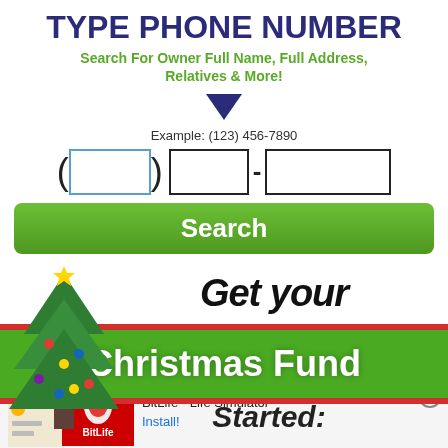TYPE PHONE NUMBER
Search For Owner Full Name, Full Address, Relatives & More!
[Figure (infographic): Phone number input form with area code box in blue outline, prefix box, dash, suffix box, and a green Search button]
[Figure (infographic): Christmas advertisement banner showing a decorated Christmas tree, text 'Get Your Christmas Fund Started' with red and green banner]
[Figure (infographic): Ad banner at bottom: BitLife - Life Simulator with Install button and close X]